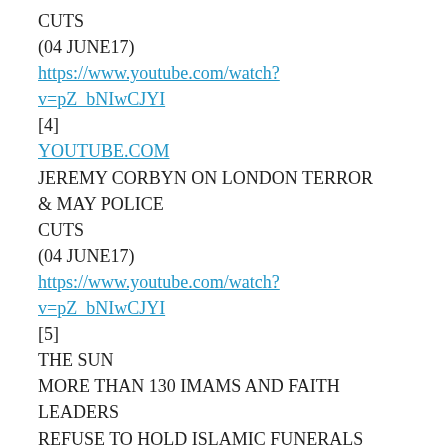CUTS
(04 JUNE17)
https://www.youtube.com/watch?v=pZ_bNIwCJYI
[4]
YOUTUBE.COM
JEREMY CORBYN ON LONDON TERROR & MAY POLICE CUTS
(04 JUNE17)
https://www.youtube.com/watch?v=pZ_bNIwCJYI
[5]
THE SUN
MORE THAN 130 IMAMS AND FAITH LEADERS REFUSE TO HOLD ISLAMIC FUNERALS FOR LONDON BRIDGE ATTACKERS'